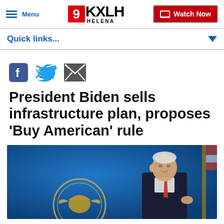Menu | 9KXLH HELENA | Watch Now
Quick links...
[Figure (other): Social sharing icons: Facebook, Twitter, Email]
President Biden sells infrastructure plan, proposes 'Buy American' rule
[Figure (photo): President Biden speaking at a podium with a US seal visible and an American flag in the background, against a blue background.]